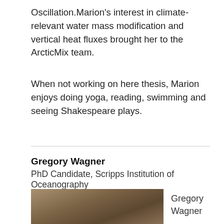Oscillation.Marion's interest in climate-relevant water mass modification and vertical heat fluxes brought her to the ArcticMix team.
When not working on here thesis, Marion enjoys doing yoga, reading, swimming and seeing Shakespeare plays.
Gregory Wagner
PhD Candidate, Scripps Institution of Oceanography
[Figure (photo): Headshot photo of Gregory Wagner, a person with long brown hair.]
Gregory Wagner